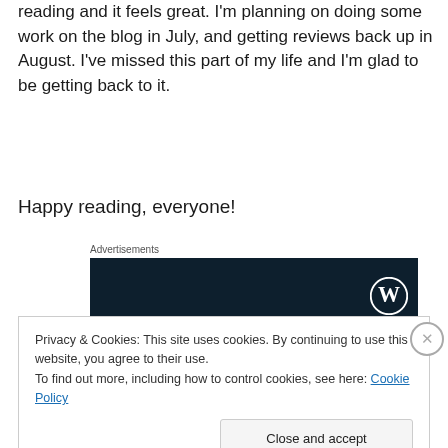reading and it feels great. I'm planning on doing some work on the blog in July, and getting reviews back up in August. I've missed this part of my life and I'm glad to be getting back to it.
Happy reading, everyone!
Advertisements
[Figure (logo): Dark navy advertisement banner with WordPress logo (W in circle) on the right side]
Privacy & Cookies: This site uses cookies. By continuing to use this website, you agree to their use.
To find out more, including how to control cookies, see here: Cookie Policy
Close and accept